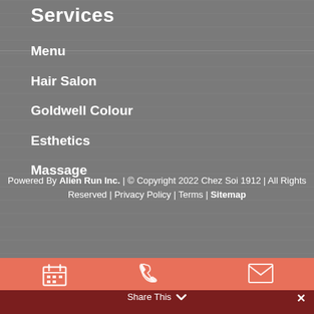Services
Menu
Hair Salon
Goldwell Colour
Esthetics
Massage
Powered By Alien Run Inc. | © Copyright 2022 Chez Soi 1912 | All Rights Reserved | Privacy Policy | Terms | Sitemap
[Figure (infographic): Bottom navigation bar with calendar, phone, and mail icons on coral background, with Share This label and close button on dark red background]